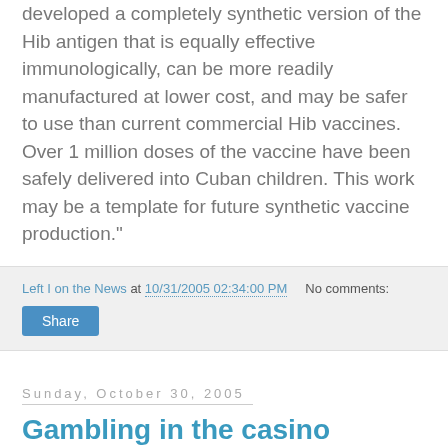developed a completely synthetic version of the Hib antigen that is equally effective immunologically, can be more readily manufactured at lower cost, and may be safer to use than current commercial Hib vaccines. Over 1 million doses of the vaccine have been safely delivered into Cuban children. This work may be a template for future synthetic vaccine production."
Left I on the News at 10/31/2005 02:34:00 PM    No comments:
Share
Sunday, October 30, 2005
Gambling in the casino
I'm shocked, shocked I tell you:
"The National Security Agency has kept secret since 2001 a finding by an agency historian that